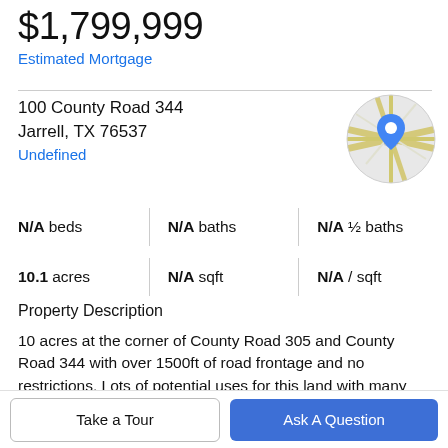$1,799,999
Estimated Mortgage
100 County Road 344
Jarrell, TX 76537
Undefined
[Figure (map): Circular map thumbnail showing street map with a blue location pin marker centered on the property location.]
N/A beds | N/A baths | N/A ½ baths | 10.1 acres | N/A sqft | N/A / sqft
Property Description
10 acres at the corner of County Road 305 and County Road 344 with over 1500ft of road frontage and no restrictions. Lots of potential uses for this land with many
Take a Tour
Ask A Question